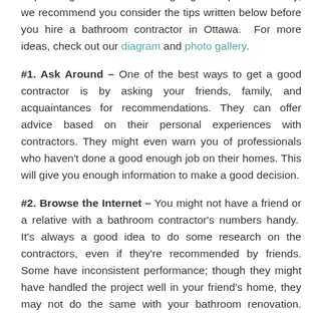of planning and investment is going to help. At Gordmay, we recommend you consider the tips written below before you hire a bathroom contractor in Ottawa.  For more ideas, check out our diagram and photo gallery.
#1. Ask Around – One of the best ways to get a good contractor is by asking your friends, family, and acquaintances for recommendations. They can offer advice based on their personal experiences with contractors. They might even warn you of professionals who haven't done a good enough job on their homes. This will give you enough information to make a good decision.
#2. Browse the Internet – You might not have a friend or a relative with a bathroom contractor's numbers handy.  It's always a good idea to do some research on the contractors, even if they're recommended by friends. Some have inconsistent performance; though they might have handled the project well in your friend's home, they may not do the same with your bathroom renovation. Research